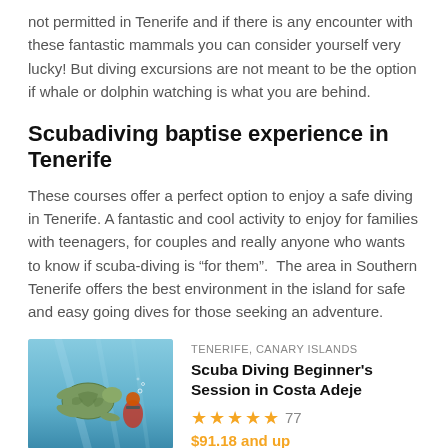not permitted in Tenerife and if there is any encounter with these fantastic mammals you can consider yourself very lucky! But diving excursions are not meant to be the option if whale or dolphin watching is what you are behind.
Scubadiving baptise experience in Tenerife
These courses offer a perfect option to enjoy a safe diving in Tenerife. A fantastic and cool activity to enjoy for families with teenagers, for couples and really anyone who wants to know if scuba-diving is “for them”.  The area in Southern Tenerife offers the best environment in the island for safe and easy going dives for those seeking an adventure.
[Figure (photo): Underwater photo showing a scuba diver near a sea turtle]
TENERIFE, CANARY ISLANDS
Scuba Diving Beginner's Session in Costa Adeje
77 reviews, 5 stars, $91.18 and up